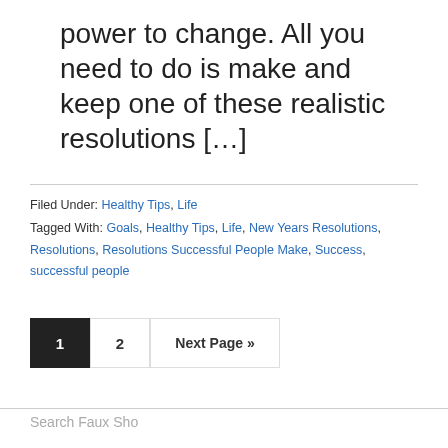power to change. All you need to do is make and keep one of these realistic resolutions […]
Filed Under: Healthy Tips, Life
Tagged With: Goals, Healthy Tips, Life, New Years Resolutions, Resolutions, Resolutions Successful People Make, Success, successful people
1 (current page)
2
Next Page »
Search Faux Sho